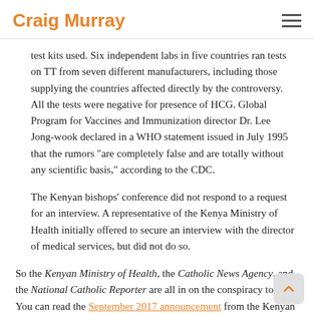Craig Murray
test kits used. Six independent labs in five countries ran tests on TT from seven different manufacturers, including those supplying the countries affected directly by the controversy. All the tests were negative for presence of HCG. Global Program for Vaccines and Immunization director Dr. Lee Jong-wook declared in a WHO statement issued in July 1995 that the rumors "are completely false and are totally without any scientific basis," according to the CDC.
The Kenyan bishops' conference did not respond to a request for an interview. A representative of the Kenya Ministry of Health initially offered to secure an interview with the director of medical services, but did not do so.
So the Kenyan Ministry of Health, the Catholic News Agency, and the National Catholic Reporter are all in on the conspiracy too? You can read the September 2017 announcement from the Kenyan Ministry of Health affirming: